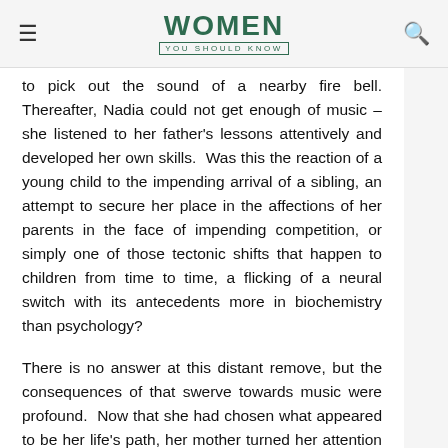WOMEN YOU SHOULD KNOW
to pick out the sound of a nearby fire bell. Thereafter, Nadia could not get enough of music – she listened to her father's lessons attentively and developed her own skills.  Was this the reaction of a young child to the impending arrival of a sibling, an attempt to secure her place in the affections of her parents in the face of impending competition, or simply one of those tectonic shifts that happen to children from time to time, a flicking of a neural switch with its antecedents more in biochemistry than psychology?
There is no answer at this distant remove, but the consequences of that swerve towards music were profound.  Now that she had chosen what appeared to be her life's path, her mother turned her attention towards perfecting the child's gift, never letting her believe for a second, even amidst her greatest...